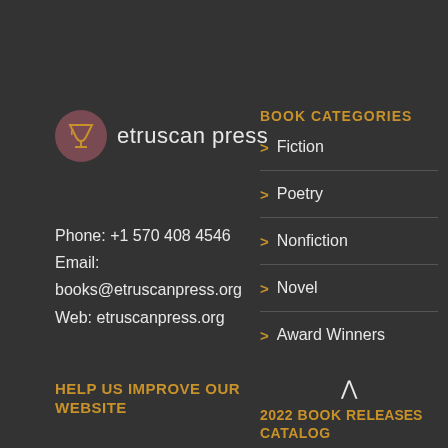[Figure (logo): Etruscan Press logo: dark mauve circle with a stylized chalice/goblet icon in gold, next to text 'etruscan press' in light color]
Phone: +1 570 408 4546
Email:
books@etruscanpress.org
Web: etruscanpress.org
HELP US IMPROVE OUR WEBSITE
Please help us improve
BOOK CATEGORIES
> Fiction
> Poetry
> Nonfiction
> Novel
> Award Winners
2022 BOOK RELEASES CATALOG